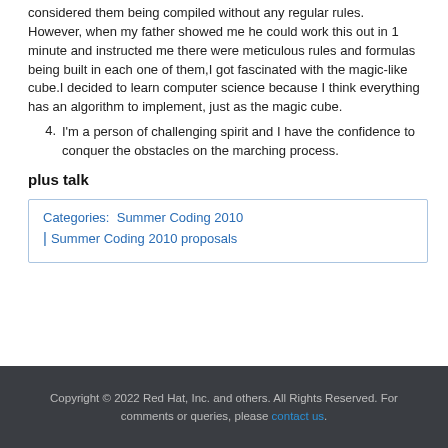considered them being compiled without any regular rules. However, when my father showed me he could work this out in 1 minute and instructed me there were meticulous rules and formulas being built in each one of them,I got fascinated with the magic-like cube.I decided to learn computer science because I think everything has an algorithm to implement, just as the magic cube.
4. I'm a person of challenging spirit and I have the confidence to conquer the obstacles on the marching process.
plus talk
Categories:  Summer Coding 2010 | Summer Coding 2010 proposals
Copyright © 2022 Red Hat, Inc. and others. All Rights Reserved. For comments or queries, please contact us.